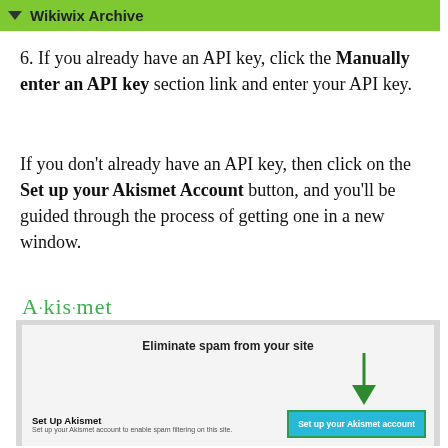Wikiwix Archive
6. If you already have an API key, click the Manually enter an API key section link and enter your API key.
If you don't already have an API key, then click on the Set up your Akismet Account button, and you'll be guided through the process of getting one in a new window.
[Figure (screenshot): Screenshot of the Akismet plugin setup page showing 'Eliminate spam from your site' heading, a 'Set Up Akismet' section with description text, and a 'Set up your Akismet account' button highlighted with a green border and green arrow pointing to it. The Akismet logo appears above the screenshot.]